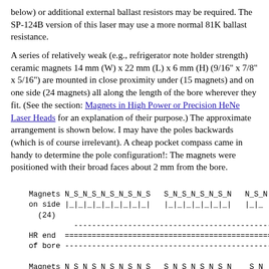below) or additional external ballast resistors may be required. The SP-124B version of this laser may use a more normal 81K ballast resistance.
A series of relatively weak (e.g., refrigerator note holder strength) ceramic magnets 14 mm (W) x 22 mm (L) x 6 mm (H) (9/16" x 7/8" x 5/16") are mounted in close proximity under (15 magnets) and on one side (24 magnets) all along the length of the bore wherever they fit. (See the section: Magnets in High Power or Precision HeNe Laser Heads for an explanation of their purpose.) The approximate arrangement is shown below. I may have the poles backwards (which is of course irrelevant). A cheap pocket compass came in handy to determine the pole configuration!: The magnets were positioned with their broad faces about 2 mm from the bore.
[Figure (schematic): Diagram showing arrangement of magnets on side (24) and below (15) along the bore of a HeNe laser. Labels show N_S_N_S pattern for side magnets and N_S_N pattern for bottom magnets, with HR end of bore indicated by dashed and solid lines.]